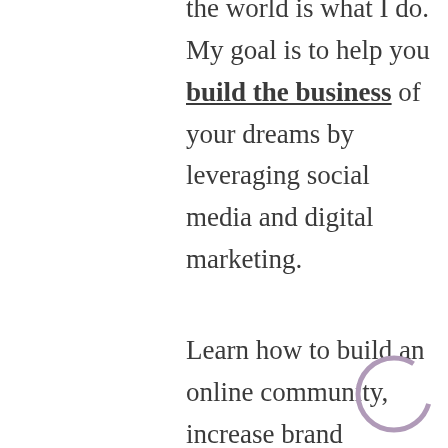the world is what I do. My goal is to help you build the business of your dreams by leveraging social media and digital marketing.
Learn how to build an online community, increase brand recognition and grow your business.
Sign up for the SocialNicole monthly newsletter and the exclusive Facebook Marketing Success Checklist. There we will help you discover smarter ways to connect, engagement and grow your business
[Figure (illustration): A partial circle outline (ring/donut shape) in light purple/lavender color, positioned at bottom right of the page]